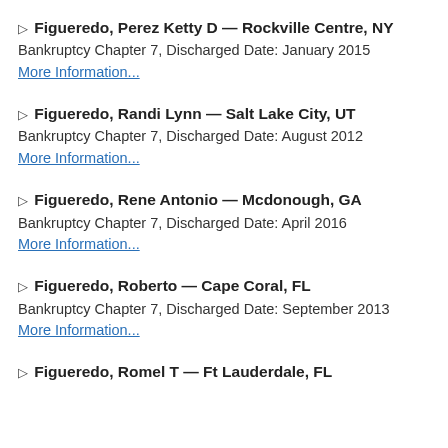▷ Figueredo, Perez Ketty D — Rockville Centre, NY
Bankruptcy Chapter 7, Discharged Date: January 2015
More Information...
▷ Figueredo, Randi Lynn — Salt Lake City, UT
Bankruptcy Chapter 7, Discharged Date: August 2012
More Information...
▷ Figueredo, Rene Antonio — Mcdonough, GA
Bankruptcy Chapter 7, Discharged Date: April 2016
More Information...
▷ Figueredo, Roberto — Cape Coral, FL
Bankruptcy Chapter 7, Discharged Date: September 2013
More Information...
▷ Figueredo, Romel T — Ft Lauderdale, FL